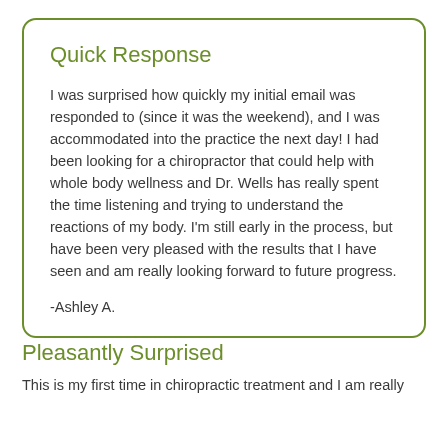Quick Response
I was surprised how quickly my initial email was responded to (since it was the weekend), and I was accommodated into the practice the next day! I had been looking for a chiropractor that could help with whole body wellness and Dr. Wells has really spent the time listening and trying to understand the reactions of my body. I'm still early in the process, but have been very pleased with the results that I have seen and am really looking forward to future progress.
-Ashley A.
Pleasantly Surprised
This is my first time in chiropractic treatment and I am really...